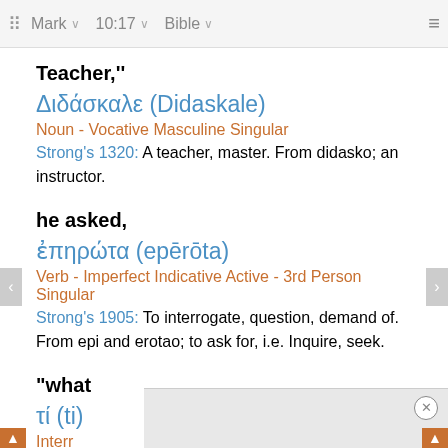Mark | 10:17 | Bible
Teacher,"
Διδάσκαλε (Didaskale)
Noun - Vocative Masculine Singular
Strong's 1320: A teacher, master. From didasko; an instructor.
he asked,
ἐπηρώτα (epērōta)
Verb - Imperfect Indicative Active - 3rd Person Singular
Strong's 1905: To interrogate, question, demand of. From epi and erotao; to ask for, i.e. Inquire, seek.
"what
τί (ti)
Interr